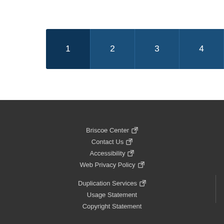[Figure (other): Pagination navigation bar with page numbers 1, 2, 3, 4 and next/last buttons on dark blue background]
Briscoe Center [external link]
Contact Us [external link]
Accessibility [external link]
Web Privacy Policy [external link]
Duplication Services [external link]
Usage Statement
Copyright Statement
Briscoe Center
Contact Us
Accessibility
Web Privacy Policy
Duplication Services
Usage Statement
Copyright Statement